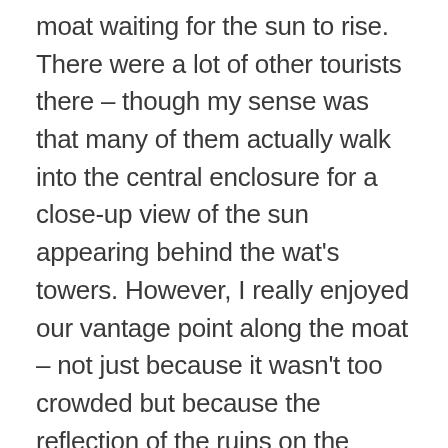moat waiting for the sun to rise. There were a lot of other tourists there – though my sense was that many of them actually walk into the central enclosure for a close-up view of the sun appearing behind the wat's towers. However, I really enjoyed our vantage point along the moat – not just because it wasn't too crowded but because the reflection of the ruins on the water was especially lovely as dawn crept up on us... Our guide was great, providing us with snacks to tide us over 'til breakfast and helping us make friends with the local temple dogs who were hanging out with us.